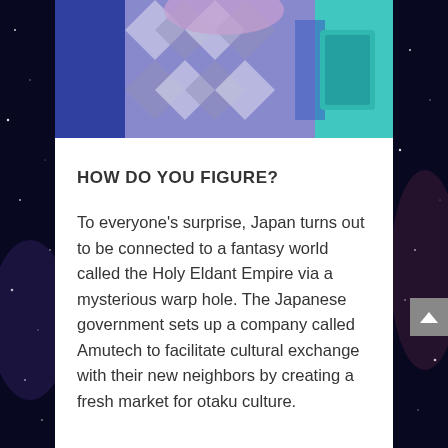[Figure (illustration): Anime character with blue/purple diamond-patterned outfit at the top of the page]
HOW DO YOU FIGURE?
To everyone’s surprise, Japan turns out to be connected to a fantasy world called the Holy Eldant Empire via a mysterious warp hole. The Japanese government sets up a company called Amutech to facilitate cultural exchange with their new neighbors by creating a fresh market for otaku culture.